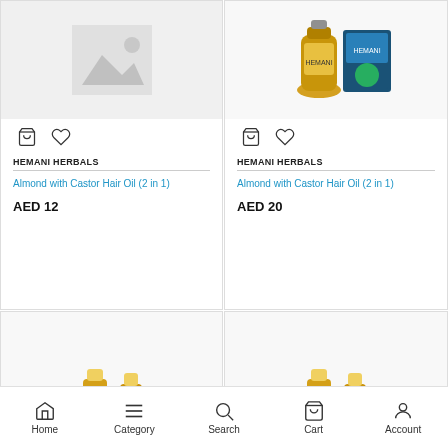[Figure (screenshot): Product card top-left: placeholder image (grey mountain placeholder)]
HEMANI HERBALS
Almond with Castor Hair Oil (2 in 1)
AED 12
[Figure (photo): Product card top-right: Hemani Herbals product bottles image]
HEMANI HERBALS
Almond with Castor Hair Oil (2 in 1)
AED 20
[Figure (photo): Product card bottom-left: Amla hair oil bottles - Hemani brand]
[Figure (photo): Product card bottom-right: Amla hair oil bottles - Hemani brand]
Home  Category  Search  Cart  Account